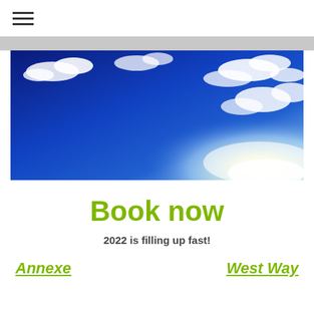☰
[Figure (photo): Wide panoramic photo of a bright blue sky with white clouds and a bright sun shining in the lower right]
Book now
2022 is filling up fast!
Annexe    West Way